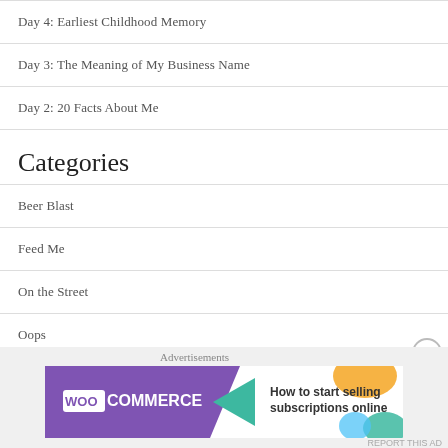Day 4: Earliest Childhood Memory
Day 3: The Meaning of My Business Name
Day 2: 20 Facts About Me
Categories
Beer Blast
Feed Me
On the Street
Oops
Rocked It
[Figure (screenshot): WooCommerce advertisement banner: 'How to start selling subscriptions online']